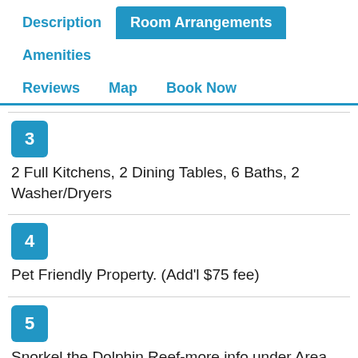Description | Room Arrangements | Amenities | Reviews | Map | Book Now
3 — 2 Full Kitchens, 2 Dining Tables, 6 Baths, 2 Washer/Dryers
4 — Pet Friendly Property. (Add'l $75 fee)
5 — Snorkel the Dolphin Reef-more info under Area Attractions below
6